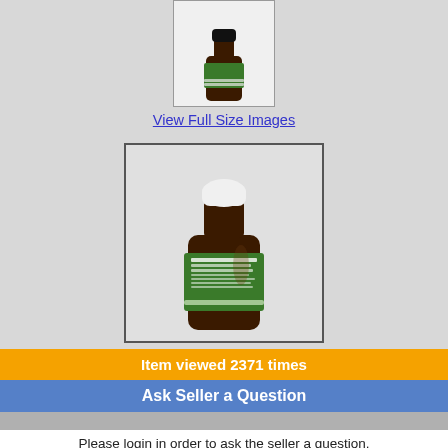[Figure (photo): Small product bottle with green label (thumbnail)]
View Full Size Images
[Figure (photo): Large product bottle with green label reading 'Weidenrindenextrakt', dark brown liquid in clear bottle with white cap]
Item viewed 2371 times
Ask Seller a Question
Please login in order to ask the seller a question.
Direct Payment